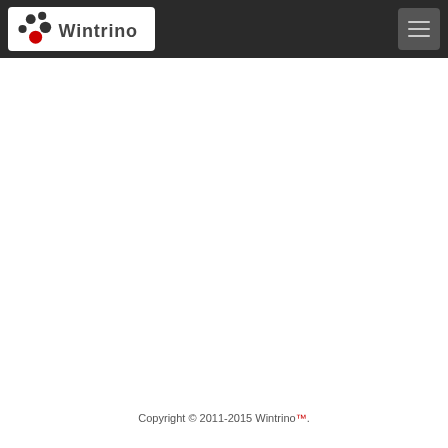Wintrino
Copyright © 2011-2015 Wintrino™.